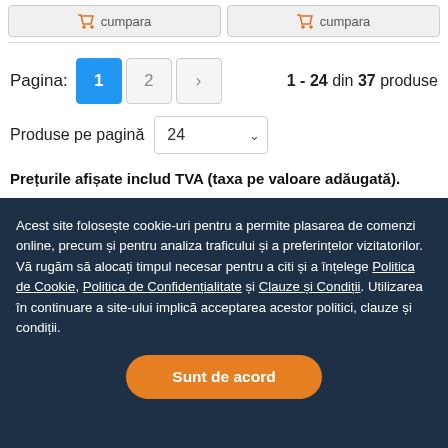[Figure (screenshot): Two product cards with 'cumpara' (buy) buttons visible at the top]
Pagina: 1 2 › 1 - 24 din 37 produse
Produse pe pagină 24
Prețurile afișate includ TVA (taxa pe valoare adăugată).
Acest site folosește cookie-uri pentru a permite plasarea de comenzi online, precum și pentru analiza traficului și a preferințelor vizitatorilor. Vă rugăm să alocați timpul necesar pentru a citi și a înțelege Politica de Cookie, Politica de Confidențialitate și Clauze și Condiții. Utilizarea în continuare a site-ului implică acceptarea acestor politici, clauze și condiții.
Sunt de acord